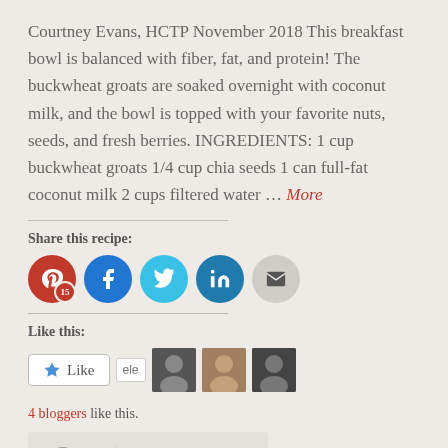Courtney Evans, HCTP November 2018 This breakfast bowl is balanced with fiber, fat, and protein! The buckwheat groats are soaked overnight with coconut milk, and the bowl is topped with your favorite nuts, seeds, and fresh berries. INGREDIENTS: 1 cup buckwheat groats 1/4 cup chia seeds 1 can full-fat coconut milk 2 cups filtered water … More
Share this recipe:
[Figure (infographic): Social share buttons: Pinterest (15), Facebook, Twitter, LinkedIn, Email]
Like this:
[Figure (infographic): WordPress Like widget showing Like button, text avatar 'ele', and three profile photo avatars]
4 bloggers like this.
[Figure (infographic): Bottom bar with comment and link icons]